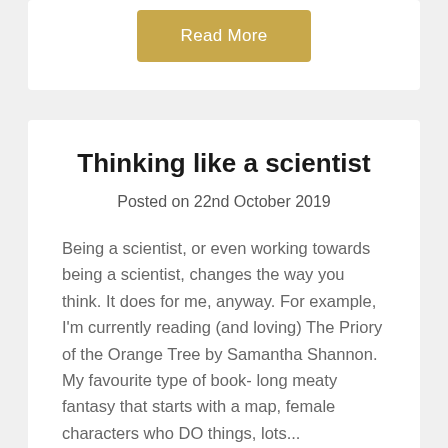[Figure (other): Read More button in gold/tan color]
Thinking like a scientist
Posted on 22nd October 2019
Being a scientist, or even working towards being a scientist, changes the way you think. It does for me, anyway. For example, I'm currently reading (and loving) The Priory of the Orange Tree by Samantha Shannon. My favourite type of book- long meaty fantasy that starts with a map, female characters who DO things, lots...